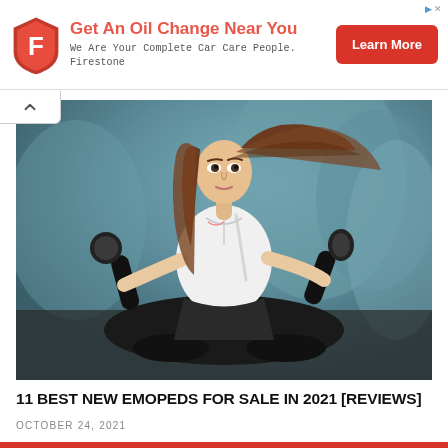[Figure (infographic): Firestone advertisement banner with red shield logo, text 'Get An Oil Change Near You', 'We Are Your Complete Car Care People. Firestone', and a red Learn More button]
[Figure (photo): Young woman with long brown hair riding a dark moped/scooter, wearing white polo shirt and dark skirt, blurred outdoor background with trees]
11 BEST NEW EMOPEDS FOR SALE IN 2021 [REVIEWS]
OCTOBER 24, 2021